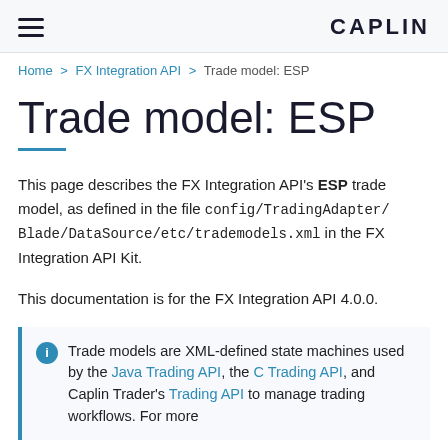CAPLIN
Home > FX Integration API > Trade model: ESP
Trade model: ESP
This page describes the FX Integration API's ESP trade model, as defined in the file config/TradingAdapter/Blade/DataSource/etc/trademodels.xml in the FX Integration API Kit.
This documentation is for the FX Integration API 4.0.0.
Trade models are XML-defined state machines used by the Java Trading API, the C Trading API, and Caplin Trader's Trading API to manage trading workflows. For more